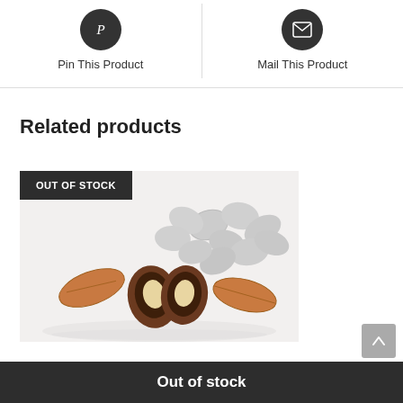[Figure (other): Pinterest icon button - dark circle with P symbol]
Pin This Product
[Figure (other): Mail/email icon button - dark circle with envelope symbol]
Mail This Product
Related products
OUT OF STOCK
[Figure (photo): Chocolate covered almonds with sugar coating, showing whole almonds and cross-section cut open, on white background]
Out of stock